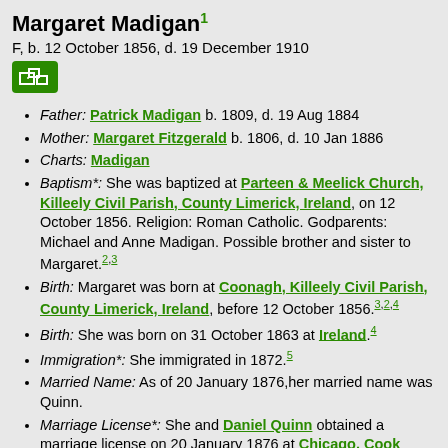Margaret Madigan
F, b. 12 October 1856, d. 19 December 1910
Father: Patrick Madigan b. 1809, d. 19 Aug 1884
Mother: Margaret Fitzgerald b. 1806, d. 10 Jan 1886
Charts: Madigan
Baptism*: She was baptized at Parteen & Meelick Church, Killeely Civil Parish, County Limerick, Ireland, on 12 October 1856. Religion: Roman Catholic. Godparents: Michael and Anne Madigan. Possible brother and sister to Margaret.
Birth: Margaret was born at Coonagh, Killeely Civil Parish, County Limerick, Ireland, before 12 October 1856.
Birth: She was born on 31 October 1863 at Ireland.
Immigration*: She immigrated in 1872.
Married Name: As of 20 January 1876,her married name was Quinn.
Marriage License*: She and Daniel Quinn obtained a marriage license on 20 January 1876 at Chicago, Cook County, Illinois, USA.